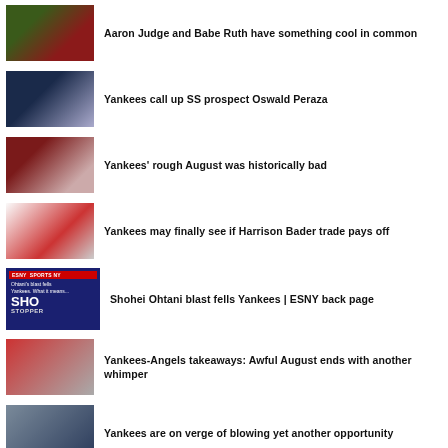Aaron Judge and Babe Ruth have something cool in common
Yankees call up SS prospect Oswald Peraza
Yankees' rough August was historically bad
Yankees may finally see if Harrison Bader trade pays off
Shohei Ohtani blast fells Yankees | ESNY back page
Yankees-Angels takeaways: Awful August ends with another whimper
Yankees are on verge of blowing yet another opportunity